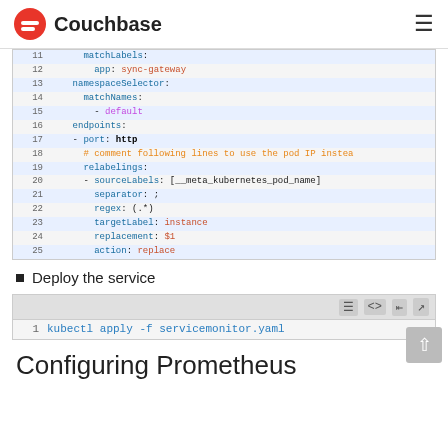Couchbase
[Figure (screenshot): YAML code block showing lines 11-25 of a ServiceMonitor configuration with matchLabels, namespaceSelector, endpoints, port, relabelings fields]
Deploy the service
[Figure (screenshot): Code block with toolbar showing: kubectl apply -f servicemonitor.yaml]
Configuring Prometheus